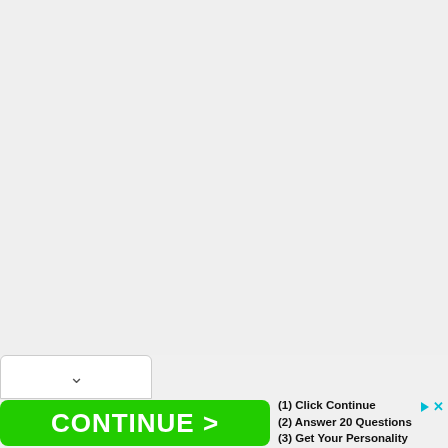[Figure (screenshot): Large blank grey area representing a web page content region]
[Figure (screenshot): Dropdown/chevron UI element - white rounded bar with a down-chevron (v) icon]
[Figure (screenshot): Advertisement banner: green 'CONTINUE >' button on the left, with text '(1) Click Continue', '(2) Answer 20 Questions', '(3) Get Your Personality Result' on the right, and a cyan ad icon (triangle + x) in the top right corner]